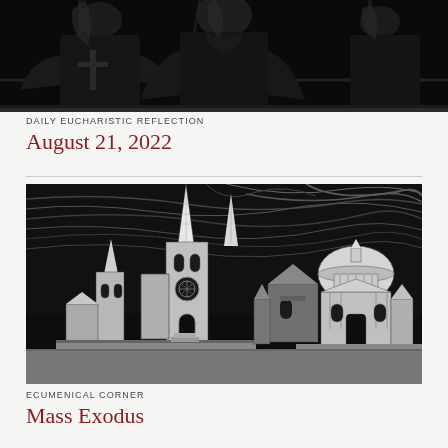[Figure (illustration): Black and white stained glass style illustration of religious figures, cropped at top of page]
DAILY EUCHARISTIC REFLECTION
August 21, 2022
[Figure (illustration): Black and white woodcut-style illustration showing Gothic cathedral spires on the left and a domed classical church on the right against a dramatic swirling sky]
ECUMENICAL CORNER
Mass Exodus